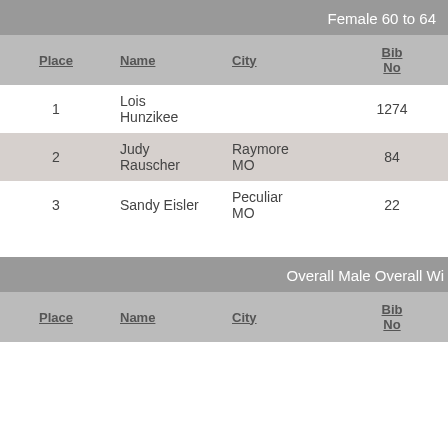| Place | Name | City | Bib No |
| --- | --- | --- | --- |
| 1 | Lois Hunzikee |  | 1274 |
| 2 | Judy Rauscher | Raymore MO | 84 |
| 3 | Sandy Eisler | Peculiar MO | 22 |
| Place | Name | City | Bib No |
| --- | --- | --- | --- |